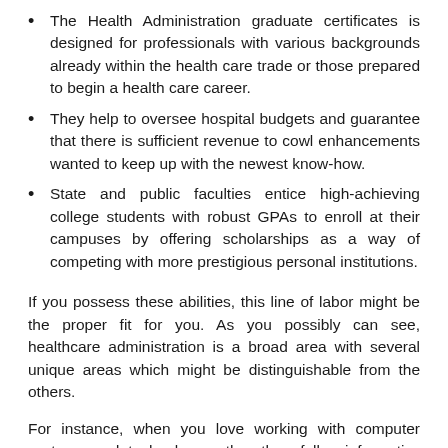The Health Administration graduate certificates is designed for professionals with various backgrounds already within the health care trade or those prepared to begin a health care career.
They help to oversee hospital budgets and guarantee that there is sufficient revenue to cowl enhancements wanted to keep up with the newest know-how.
State and public faculties entice high-achieving college students with robust GPAs to enroll at their campuses by offering scholarships as a way of competing with more prestigious personal institutions.
If you possess these abilities, this line of labor might be the proper fit for you. As you possibly can see, healthcare administration is a broad area with several unique areas which might be distinguishable from the others.
For instance, when you love working with computer systems and technology rather than folks, informatics and